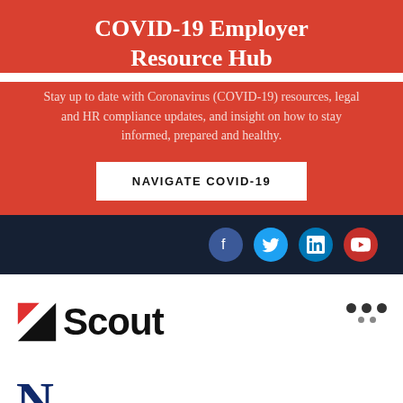COVID-19 Employer Resource Hub
Stay up to date with Coronavirus (COVID-19) resources, legal and HR compliance updates, and insight on how to stay informed, prepared and healthy.
NAVIGATE COVID-19
[Figure (infographic): Social media icons: Facebook (blue circle), Twitter (cyan circle), LinkedIn (dark blue circle), YouTube (red circle) on a navy background bar]
[Figure (logo): Scout logo: red/black arrow icon followed by the word Scout in bold black sans-serif, with three dots menu icon on the right]
[Figure (logo): Partial logo starting with large dark blue letter N at bottom of page]